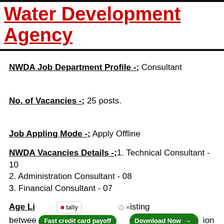Water Development Agency
NWDA Job Department Profile -: Consultant
No. of Vacancies -: 25 posts.
Job Appling Mode -: Apply Offline
NWDA Vacancies Details -:1. Technical Consultant - 10
2. Administration Consultant - 08
3. Financial Consultant - 07
Age Li [ad overlay] isting
between [Fast credit card payoff / Download Now] ion in
age limit, visit at official site. Follow all the
instructions which are issued by the govt.